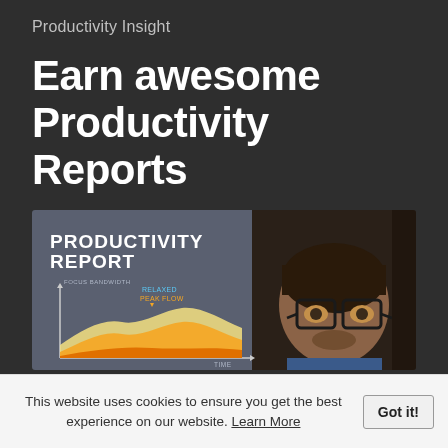Productivity Insight
Earn awesome Productivity Reports
[Figure (photo): Composite image showing a productivity report chart (area chart with yellow/orange waves labeled FOCUS BANDWIDTH, RELAXED, PEAK FLOW, TIME) on the left side and a man wearing glasses looking at a screen on the right side. The chart panel is titled PRODUCTIVITY REPORT.]
This website uses cookies to ensure you get the best experience on our website. Learn More
Got it!